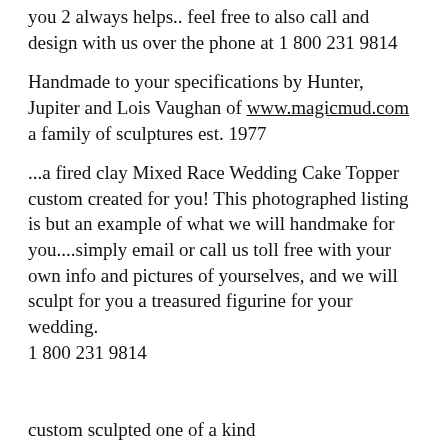you 2 always helps.. feel free to also call and design with us over the phone at 1 800 231 9814
Handmade to your specifications by Hunter, Jupiter and Lois Vaughan of www.magicmud.com a family of sculptures est. 1977
...a fired clay Mixed Race Wedding Cake Topper custom created for you! This photographed listing is but an example of what we will handmake for you....simply email or call us toll free with your own info and pictures of yourselves, and we will sculpt for you a treasured figurine for your wedding.
1 800 231 9814
custom sculpted one of a kind